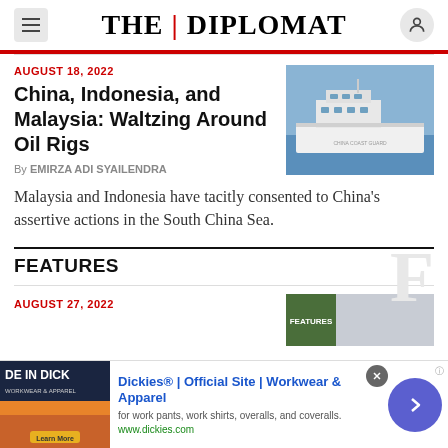THE DIPLOMAT
AUGUST 18, 2022
China, Indonesia, and Malaysia: Waltzing Around Oil Rigs
By EMIRZA ADI SYAILENDRA
[Figure (photo): A white coast guard vessel sailing on blue sea]
Malaysia and Indonesia have tacitly consented to China's assertive actions in the South China Sea.
FEATURES
AUGUST 27, 2022
[Figure (photo): Partial view of a magazine or book cover with green and grey tones]
[Figure (photo): Advertisement banner: Dickies Official Site Workwear and Apparel — for work pants, work shirts, overalls, and coveralls. www.dickies.com]